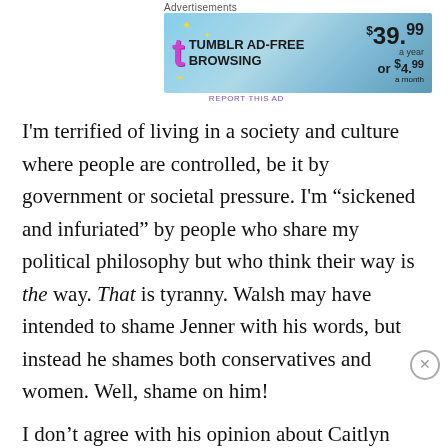Advertisements
[Figure (screenshot): Tumblr ad-free browsing advertisement banner: $39.99 a year or $4.99 a month]
REPORT THIS AD
I'm terrified of living in a society and culture where people are controlled, be it by government or societal pressure. I'm “sickened and infuriated” by people who share my political philosophy but who think their way is the way. That is tyranny. Walsh may have intended to shame Jenner with his words, but instead he shames both conservatives and women. Well, shame on him!
I don’t agree with his opinion about Caitlyn Jenner. I’ve
Advertisements
[Figure (screenshot): Advertisement: Turn your blog into a money-making online course.]